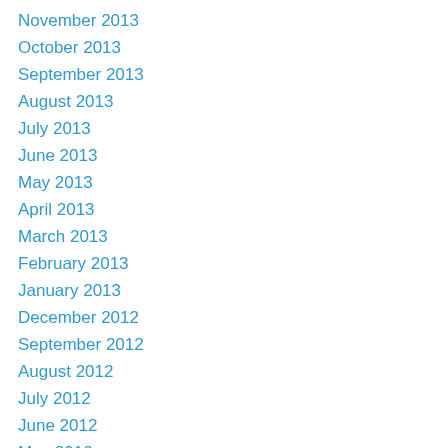November 2013
October 2013
September 2013
August 2013
July 2013
June 2013
May 2013
April 2013
March 2013
February 2013
January 2013
December 2012
September 2012
August 2012
July 2012
June 2012
May 2012
April 2012
March 2012
February 2012